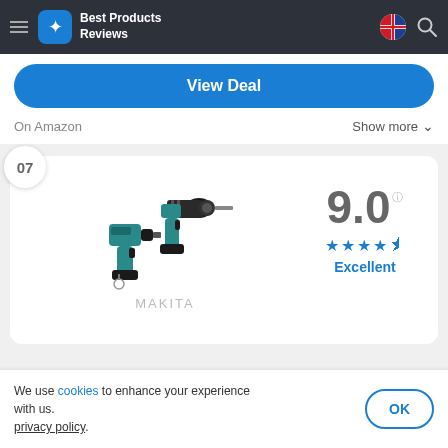Best Products Reviews
View Deal
On Amazon    Show more
07
[Figure (photo): Two Makita cordless power tools - a drill/driver and an impact driver, both in teal/black color]
MAKITA
9.0
Excellent
We use cookies to enhance your experience with us. privacy policy.